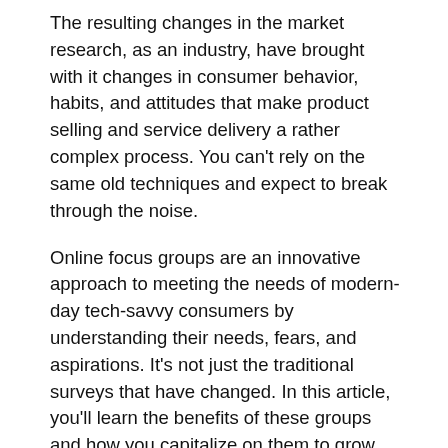The resulting changes in the market research, as an industry, have brought with it changes in consumer behavior, habits, and attitudes that make product selling and service delivery a rather complex process. You can't rely on the same old techniques and expect to break through the noise.
Online focus groups are an innovative approach to meeting the needs of modern-day tech-savvy consumers by understanding their needs, fears, and aspirations. It's not just the traditional surveys that have changed. In this article, you'll learn the benefits of these groups and how you capitalize on them to grow your business.
What you need to know about online focus group
By definition, a focus group refers to several